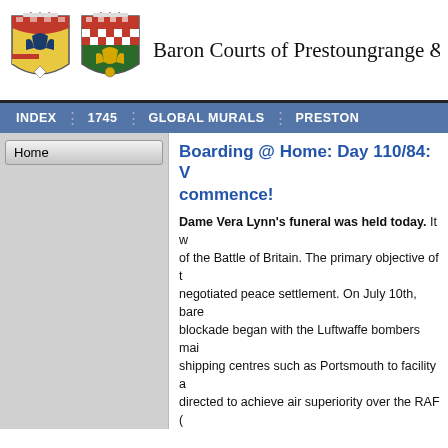Baron Courts of Prestoungrange & De...
INDEX | 1745 | GLOBAL MURALS | PRESTON...
Boarding @ Home: Day 110/84: ... commence!
Dame Vera Lynn's funeral was held today. It w... of the Battle of Britain. The primary objective of t... negotiated peace settlement. On July 10th, bare... blockade began with the Luftwaffe bombers mai... shipping centres such as Portsmouth to facility a... directed to achieve air superiority over the RAF... and 12 days later shifted the attacks to RAF airfi... bombers were the German Dornier and Heinkel... acclaimed Spitfire worked in a complementary m... German fighters.